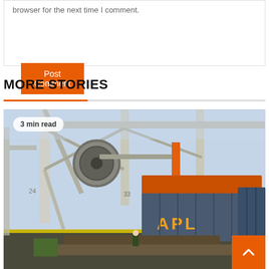browser for the next time I comment.
Post Comment
MORE STORIES
[Figure (photo): Port crane lifting an APL shipping container at a cargo terminal. Industrial crane structure visible with orange and blue container being hoisted. Workers and equipment visible on the ground. Badge reads '3 min read'.]